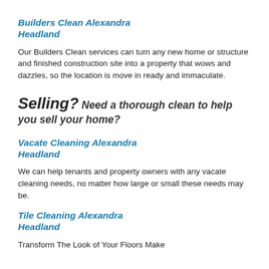Builders Clean Alexandra Headland
Our Builders Clean services can turn any new home or structure and finished construction site into a property that wows and dazzles, so the location is move in ready and immaculate.
Selling? Need a thorough clean to help you sell your home?
Vacate Cleaning Alexandra Headland
We can help tenants and property owners with any vacate cleaning needs, no matter how large or small these needs may be.
Tile Cleaning Alexandra Headland
Transform The Look of Your Floors Make